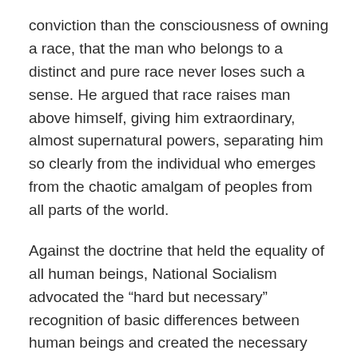conviction than the consciousness of owning a race, that the man who belongs to a distinct and pure race never loses such a sense. He argued that race raises man above himself, giving him extraordinary, almost supernatural powers, separating him so clearly from the individual who emerges from the chaotic amalgam of peoples from all parts of the world.
Against the doctrine that held the equality of all human beings, National Socialism advocated the “hard but necessary” recognition of basic differences between human beings and created the necessary ideological basis for the Holocaust, laying the psychological and technical conditions for its realisation. From 1933 to 1945, persecution and genocide swept through Europe. The territory of Europe became a place of blood and tears. The Star of David became a symbol of hatred, the ghettos the embodiment of violent segregation and